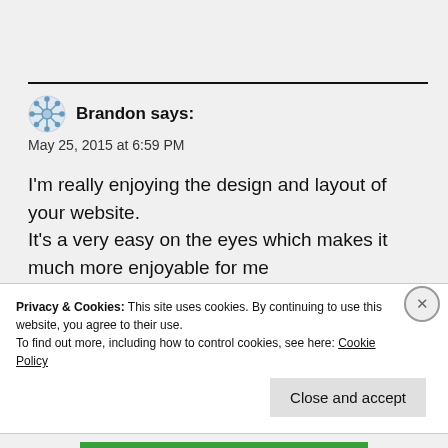Brandon says:
May 25, 2015 at 6:59 PM
I'm really enjoying the design and layout of your website.
It's a very easy on the eyes which makes it much more enjoyable for me
to come here and visit more often. Did you hire out a
Privacy & Cookies: This site uses cookies. By continuing to use this website, you agree to their use.
To find out more, including how to control cookies, see here: Cookie Policy
Close and accept